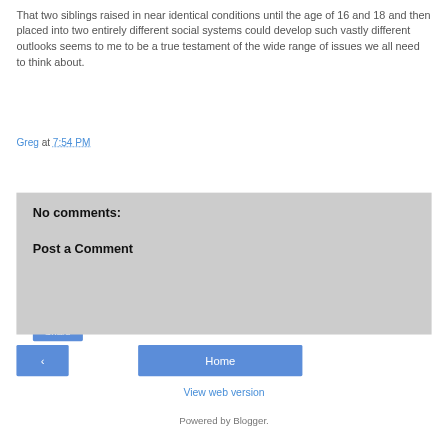That two siblings raised in near identical conditions until the age of 16 and 18 and then placed into two entirely different social systems could develop such vastly different outlooks seems to me to be a true testament of the wide range of issues we all need to think about.
Greg at 7:54 PM
Share
No comments:
Post a Comment
< (previous button)
Home
View web version
Powered by Blogger.